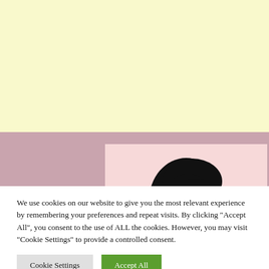[Figure (illustration): Illustrated portrait of a woman with short black hair and glasses, smiling, on a pink background, overlaid on a mauve/pink color block background with a light yellow band at top.]
We use cookies on our website to give you the most relevant experience by remembering your preferences and repeat visits. By clicking "Accept All", you consent to the use of ALL the cookies. However, you may visit "Cookie Settings" to provide a controlled consent.
Cookie Settings | Accept All